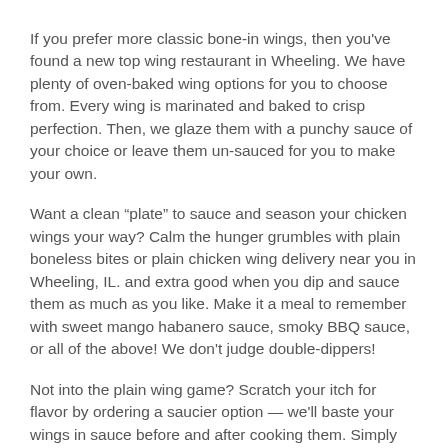If you prefer more classic bone-in wings, then you've found a new top wing restaurant in Wheeling. We have plenty of oven-baked wing options for you to choose from. Every wing is marinated and baked to crisp perfection. Then, we glaze them with a punchy sauce of your choice or leave them un-sauced for you to make your own.
Want a clean “plate” to sauce and season your chicken wings your way? Calm the hunger grumbles with plain boneless bites or plain chicken wing delivery near you in Wheeling, IL. and extra good when you dip and sauce them as much as you like. Make it a meal to remember with sweet mango habanero sauce, smoky BBQ sauce, or all of the above! We don't judge double-dippers!
Not into the plain wing game? Scratch your itch for flavor by ordering a saucier option — we'll baste your wings in sauce before and after cooking them. Simply choose how you want to get saucy. For a sweeter taste, order BBQ Wings. For a bit of both flavors, choose Sweet Mango Habanero Wings. And for an all-out extravaganza, order a little bit of every-wing to treat your senses.